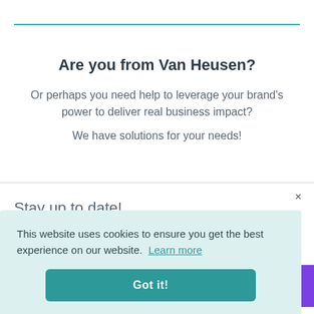Are you from Van Heusen?
Or perhaps you need help to leverage your brand's power to deliver real business impact?
We have solutions for your needs!
Stay up to date!
Get notifications about Fashionbi Marketing
This website uses cookies to ensure you get the best experience on our website. Learn more
Got it!